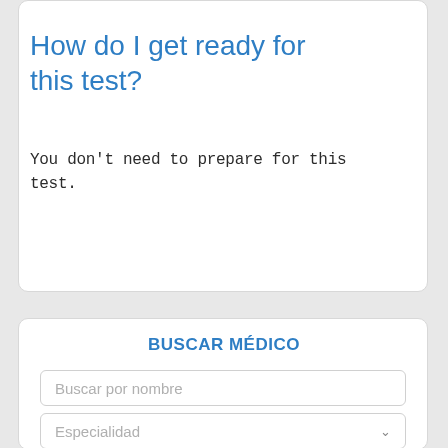How do I get ready for this test?
You don't need to prepare for this test.
BUSCAR MÉDICO
Buscar por nombre
Especialidad